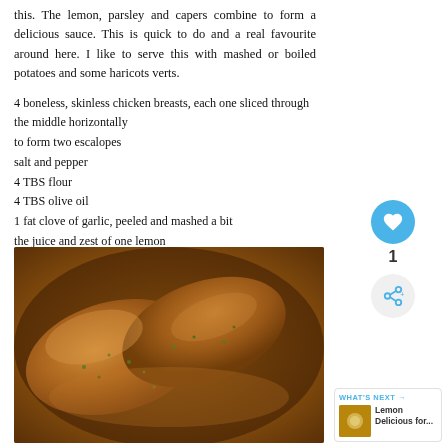this. The lemon, parsley and capers combine to form a delicious sauce. This is quick to do and a real favourite around here. I like to serve this with mashed or boiled potatoes and some haricots verts.
4 boneless, skinless chicken breasts, each one sliced through the middle horizontally
to form two escalopes
salt and pepper
4 TBS flour
4 TBS olive oil
1 fat clove of garlic, peeled and mashed a bit
the juice and zest of one lemon
2 TBS of capers in vinegar, rinsed, drained and chopped
4 TBS finely chopped fresh flat leaf parsley
[Figure (photo): Close-up photo of cooked chicken escalopes in a pan with lemon caper parsley sauce, golden-brown color with herbs visible]
WHAT'S NEXT → Lemon Delicious for...